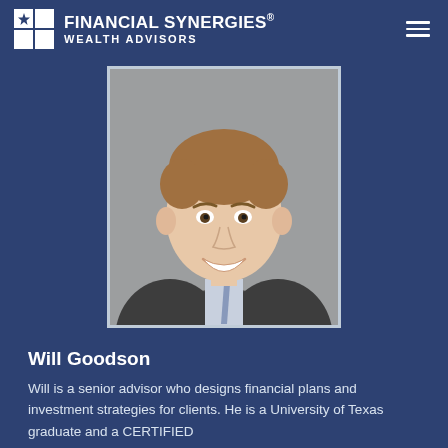FINANCIAL SYNERGIES® WEALTH ADVISORS
[Figure (photo): Professional headshot of Will Goodson, a young man in a gray suit with a blue patterned tie, smiling, against a neutral gray background]
Will Goodson
Will is a senior advisor who designs financial plans and investment strategies for clients. He is a University of Texas graduate and a CERTIFIED